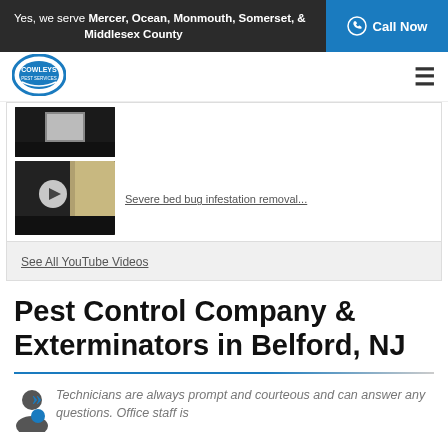Yes, we serve Mercer, Ocean, Monmouth, Somerset, & Middlesex County | Call Now
[Figure (logo): Cowleys Pest Services circular logo]
[Figure (screenshot): Video thumbnail - dark/grainy image]
Severe bed bug infestation removal...
See All YouTube Videos
Pest Control Company & Exterminators in Belford, NJ
Technicians are always prompt and courteous and can answer any questions. Office staff is